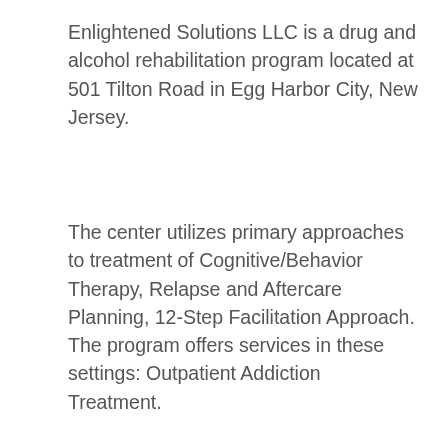Enlightened Solutions LLC is a drug and alcohol rehabilitation program located at 501 Tilton Road in Egg Harbor City, New Jersey.
The center utilizes primary approaches to treatment of Cognitive/Behavior Therapy, Relapse and Aftercare Planning, 12-Step Facilitation Approach. The program offers services in these settings: Outpatient Addiction Treatment.
Enlightened Solutions LLC also provides clients with a number of special programs tailored to the specific needs of individuals, such as: Drug and Alcohol Rehab for Women, Aftercare/Continuing Care, Comprehensive Substance Abuse